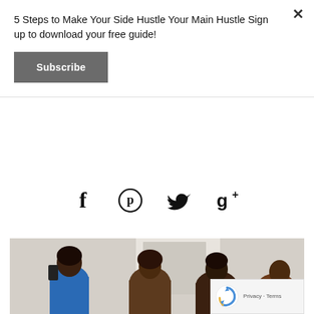5 Steps to Make Your Side Hustle Your Main Hustle Sign up to download your free guide!
Subscribe
[Figure (infographic): Social media share icons: Facebook (f), Pinterest (circle-p), Twitter (bird), Google+ (g+)]
[Figure (photo): Photo of several women, one holding a phone taking a selfie, in a light-colored interior space]
[Figure (infographic): reCAPTCHA badge with logo and Privacy - Terms text]